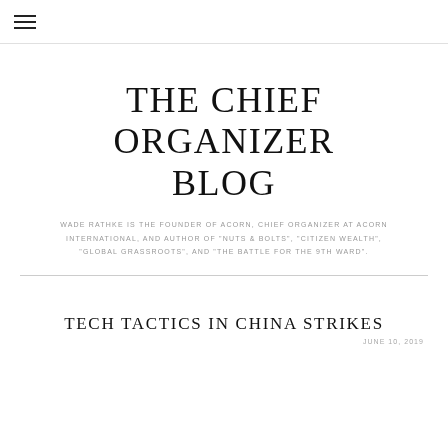≡
THE CHIEF ORGANIZER BLOG
WADE RATHKE IS THE FOUNDER OF ACORN, CHIEF ORGANIZER AT ACORN INTERNATIONAL, AND AUTHOR OF "NUTS & BOLTS", "CITIZEN WEALTH", "GLOBAL GRASSROOTS", AND "THE BATTLE FOR THE 9TH WARD".
TECH TACTICS IN CHINA STRIKES
JUNE 10, 2019